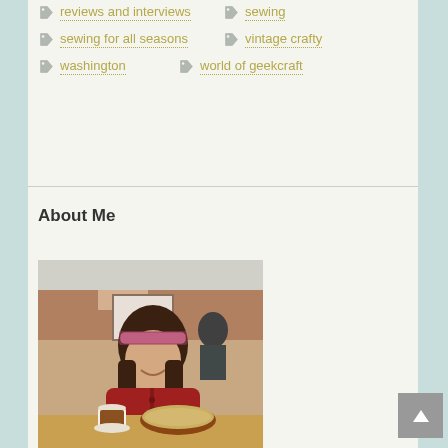reviews and interviews
sewing
sewing for all seasons
vintage crafty
washington
world of geekcraft
About Me
[Figure (photo): Woman with dark hair and floral headband, wearing a red cardigan, sitting at a restaurant table with a bowl of food and a coffee cup in front of her. Brick wall in background.]